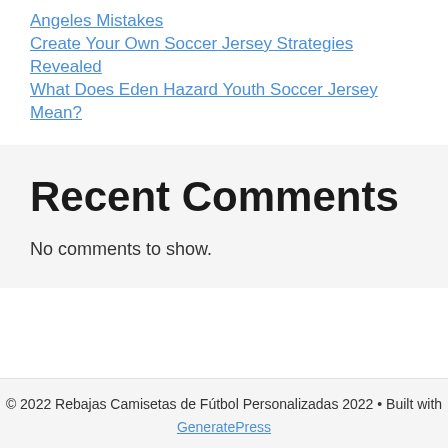Angeles Mistakes
Create Your Own Soccer Jersey Strategies Revealed
What Does Eden Hazard Youth Soccer Jersey Mean?
Recent Comments
No comments to show.
© 2022 Rebajas Camisetas de Fútbol Personalizadas 2022 • Built with GeneratePress